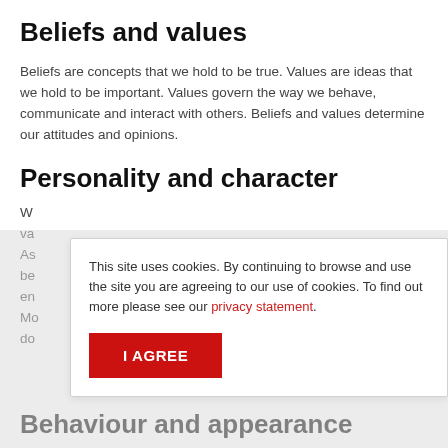Beliefs and values
Beliefs are concepts that we hold to be true. Values are ideas that we hold to be important. Values govern the way we behave, communicate and interact with others. Beliefs and values determine our attitudes and opinions.
Personality and character
W... va... As... be... en... Mo... do...
This site uses cookies. By continuing to browse and use the site you are agreeing to our use of cookies. To find out more please see our privacy statement.
Behaviour and appearance